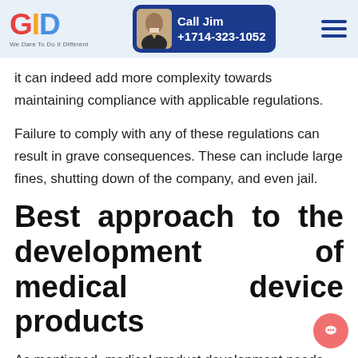GID — We Dare To Do It Different | Call Jim +1714-323-1052
it can indeed add more complexity towards maintaining compliance with applicable regulations.
Failure to comply with any of these regulations can result in grave consequences. These can include large fines, shutting down of the company, and even jail.
Best approach to the development of medical device products
As mentioned, medical product development needs